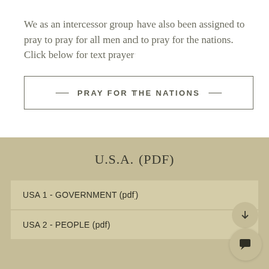We as an intercessor group have also been assigned to pray to pray for all men and to pray for the nations.  Click below for text prayer
— PRAY FOR THE NATIONS —
U.S.A. (PDF)
USA 1 - GOVERNMENT (pdf)
USA 2 - PEOPLE (pdf)